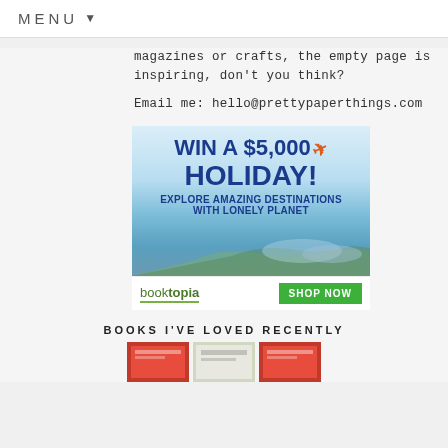MENU ▾
magazines or crafts, the empty page is inspiring, don't you think?
Email me: hello@prettypaperthings.com
[Figure (infographic): Advertisement banner: WIN A $5,000 HOLIDAY! EXPLORE AMAZING DESTINATIONS WITH LONELY PLANET, with Booktopia logo and SHOP NOW button]
BOOKS I'VE LOVED RECENTLY
[Figure (photo): Three book covers partially visible at bottom of page]